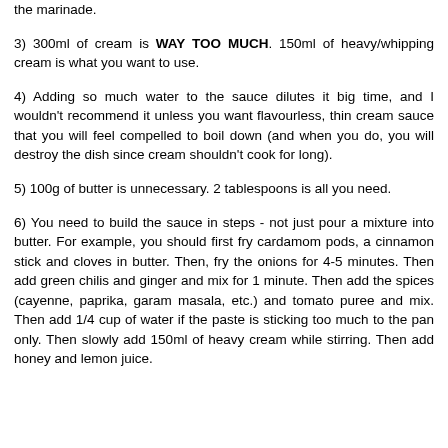the marinade.
3) 300ml of cream is WAY TOO MUCH. 150ml of heavy/whipping cream is what you want to use.
4) Adding so much water to the sauce dilutes it big time, and I wouldn't recommend it unless you want flavourless, thin cream sauce that you will feel compelled to boil down (and when you do, you will destroy the dish since cream shouldn't cook for long).
5) 100g of butter is unnecessary. 2 tablespoons is all you need.
6) You need to build the sauce in steps - not just pour a mixture into butter. For example, you should first fry cardamom pods, a cinnamon stick and cloves in butter. Then, fry the onions for 4-5 minutes. Then add green chilis and ginger and mix for 1 minute. Then add the spices (cayenne, paprika, garam masala, etc.) and tomato puree and mix. Then add 1/4 cup of water if the paste is sticking too much to the pan only. Then slowly add 150ml of heavy cream while stirring. Then add honey and lemon juice.